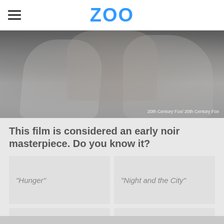ZOO
[Figure (photo): Grayscale film noir still showing two figures in an embrace or struggle, dramatic lighting. Credit: 20th Century Fox / 20th Century Fox]
20th Century Fox/ 20th Century Fox
This film is considered an early noir masterpiece. Do you know it?
"Hunger"
"Night and the City"
"Repulsion"
"Sabotage"